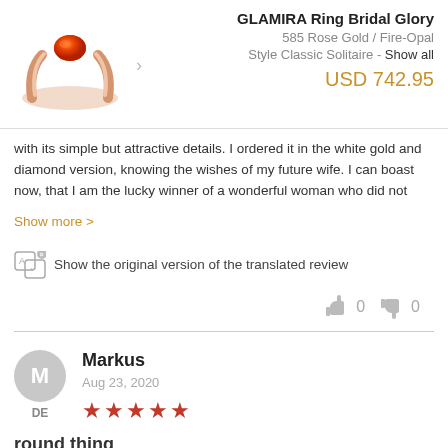[Figure (photo): Rose gold solitaire ring with orange fire-opal gemstone]
GLAMIRA Ring Bridal Glory
585 Rose Gold / Fire-Opal
Style Classic Solitaire - Show all
USD 742.95
with its simple but attractive details. I ordered it in the white gold and diamond version, knowing the wishes of my future wife. I can boast now, that I am the lucky winner of a wonderful woman who did not
Show more >
Show the original version of the translated review
0  0
Markus
Aug 23, 2020
★★★★★
round thing